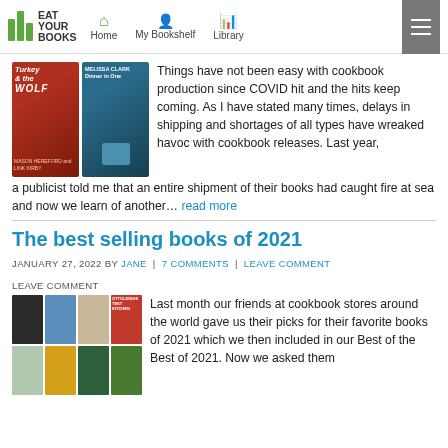Eat Your Books | Home | My Bookshelf | Library
Things have not been easy with cookbook production since COVID hit and the hits keep coming. As I have stated many times, delays in shipping and shortages of all types have wreaked havoc with cookbook releases. Last year, a publicist told me that an entire shipment of their books had caught fire at sea and now we learn of another… read more
The best selling books of 2021
JANUARY 27, 2022 BY JANE | 7 COMMENTS | LEAVE COMMENT
Last month our friends at cookbook stores around the world gave us their picks for their favorite books of 2021 which we then included in our Best of the Best of 2021. Now we asked them for their best selling of 2021. It would be...